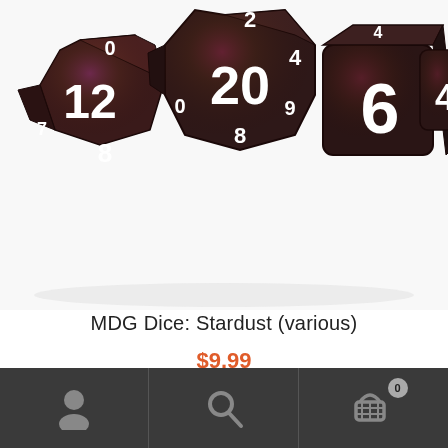[Figure (photo): A set of dark metallic RPG polyhedral dice with purple/red iridescent shimmer and white numbers, arranged in a row. Visible faces show numbers 12, 20, 6, 8, 4, 2, 0 on various die types (d12, d20, d6, d8, d4). White background.]
MDG Dice: Stardust (various)
$9.99
Select options
[Figure (other): Dark bottom navigation bar with three icons: a user/person icon on the left, a search/magnifying glass icon in the center, and a shopping cart icon with badge showing 0 on the right.]